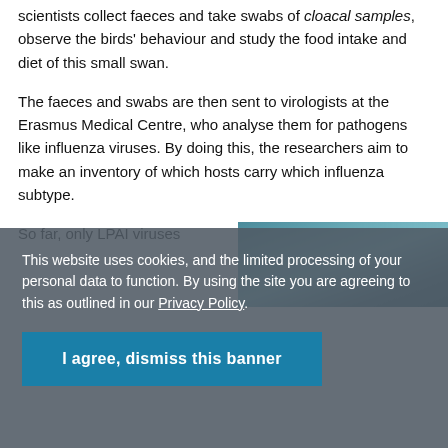scientists collect faeces and take swabs of cloacal samples, observe the birds' behaviour and study the food intake and diet of this small swan.
The faeces and swabs are then sent to virologists at the Erasmus Medical Centre, who analyse them for pathogens like influenza viruses. By doing this, the researchers aim to make an inventory of which hosts carry which influenza subtype.
So far, only LPAI viruses
[Figure (photo): Partial photograph showing what appears to be a bird or swan near water, partially visible on the right side of the page.]
This website uses cookies, and the limited processing of your personal data to function. By using the site you are agreeing to this as outlined in our Privacy Policy.
I agree, dismiss this banner